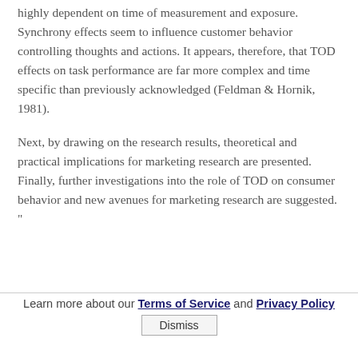highly dependent on time of measurement and exposure. Synchrony effects seem to influence customer behavior controlling thoughts and actions. It appears, therefore, that TOD effects on task performance are far more complex and time specific than previously acknowledged (Feldman & Hornik, 1981).
Next, by drawing on the research results, theoretical and practical implications for marketing research are presented. Finally, further investigations into the role of TOD on consumer behavior and new avenues for marketing research are suggested. "
Learn more about our Terms of Service and Privacy Policy  Dismiss